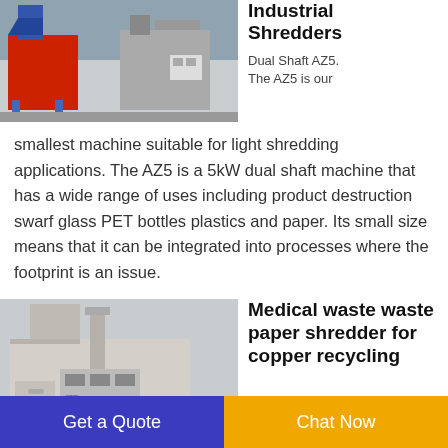[Figure (photo): Industrial shredder machine with red and grey components in a factory setting]
Industrial Shredders
Dual Shaft AZ5. The AZ5 is our smallest machine suitable for light shredding applications. The AZ5 is a 5kW dual shaft machine that has a wide range of uses including product destruction swarf glass PET bottles plastics and paper. Its small size means that it can be integrated into processes where the footprint is an issue.
[Figure (photo): Medical waste paper shredder machine for copper recycling, beige/cream colored industrial unit with control panel]
Medical waste waste paper shredder for copper recycling
Get a Quote
Chat Now